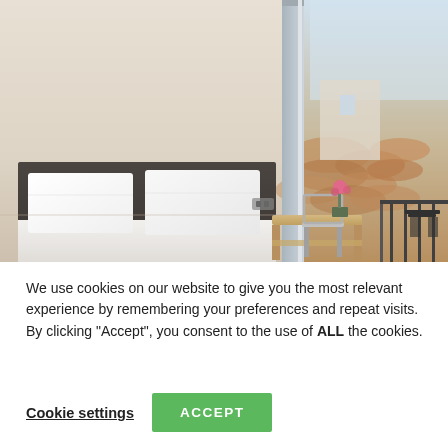[Figure (photo): Hotel room with double bed with white pillows and dark headboard, a wooden desk with a pink orchid plant, a balcony door open to outside showing terracotta rooftops in the background.]
We use cookies on our website to give you the most relevant experience by remembering your preferences and repeat visits. By clicking “Accept”, you consent to the use of ALL the cookies.
Cookie settings
ACCEPT